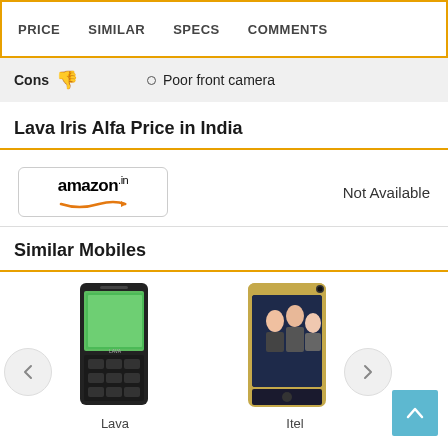PRICE  SIMILAR  SPECS  COMMENTS
Cons  ○  Poor front camera
Lava Iris Alfa Price in India
amazon.in  Not Available
Similar Mobiles
[Figure (photo): Lava mobile phone - black feature phone]
Lava
[Figure (photo): Itel mobile phone - gold smartphone with people on screen]
Itel